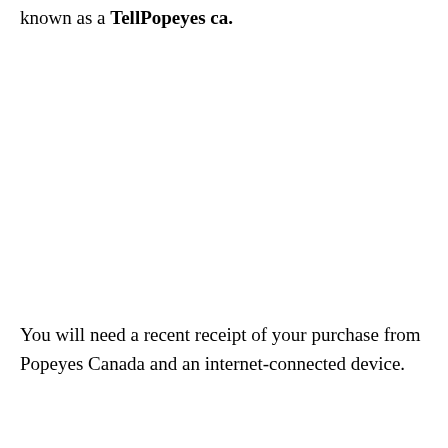known as a TellPopeyes ca.
You will need a recent receipt of your purchase from Popeyes Canada and an internet-connected device.